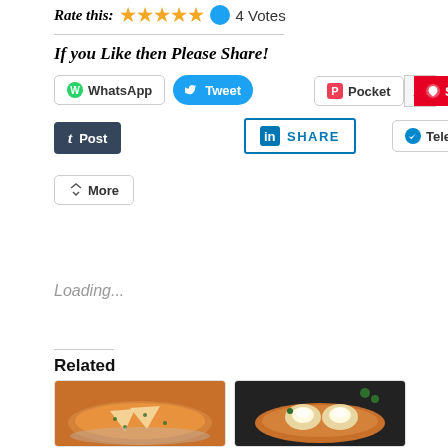Rate this: ★★★★★ 🔵 4 Votes
If you Like then Please Share!
[Figure (screenshot): Social share buttons: WhatsApp, Tweet, Pocket (11), Save (130), Post, LinkedIn SHARE, Telegram, More]
Loading...
Related
[Figure (photo): Bowl of orange curry with triangular pieces (paneer/bread) garnished with herbs]
[Figure (photo): Bowl of orange curry with egg halves garnished with herbs on dark background]